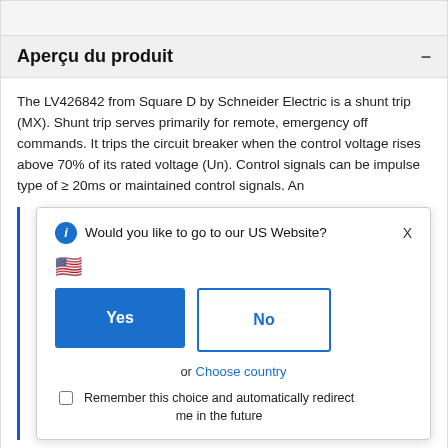Aperçu du produit
The LV426842 from Square D by Schneider Electric is a shunt trip (MX). Shunt trip serves primarily for remote, emergency off commands. It trips the circuit breaker when the control voltage rises above 70% of its rated voltage (Un). Control signals can be impulse type of ≥ 20ms or maintained control signals. An
Would you like to go to our US Website?
Yes
No
or Choose country
Remember this choice and automatically redirect me in the future
Range compatibility with PowerPact B, Compact NSXm